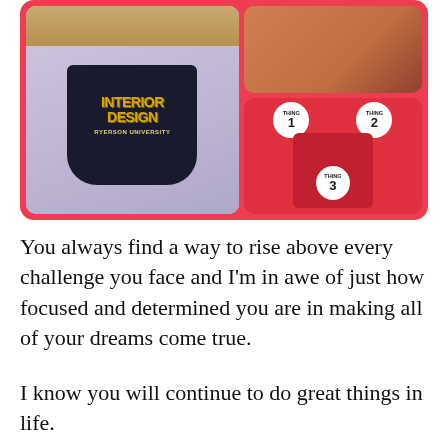[Figure (photo): Photo collage with pink/red border. Left: person wearing navy 'Interior Design Ryerson University' sweatshirt. Top right: person in brown/orange jacket. Bottom right: child and others dressed in red 'Thing 1', 'Thing 2', 'Thing 3' costumes.]
You always find a way to rise above every challenge you face and I'm in awe of just how focused and determined you are in making all of your dreams come true.
I know you will continue to do great things in life.